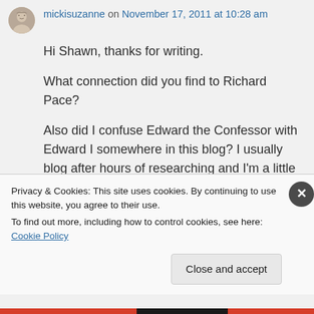mickisuzanne on November 17, 2011 at 10:28 am
Hi Shawn, thanks for writing.
What connection did you find to Richard Pace?
Also did I confuse Edward the Confessor with Edward I somewhere in this blog? I usually blog after hours of researching and I'm a little zonked at that point. I need to fix
Privacy & Cookies: This site uses cookies. By continuing to use this website, you agree to their use.
To find out more, including how to control cookies, see here: Cookie Policy